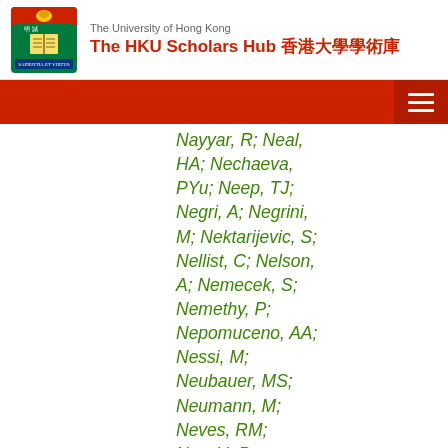The University of Hong Kong — The HKU Scholars Hub 香港大學學術庫
Nayyar, R; Neal, HA; Nechaeva, PYu; Neep, TJ; Negri, A; Negrini, M; Nektarijevic, S; Nellist, C; Nelson, A; Nemecek, S; Nemethy, P; Nepomuceno, AA; Nessi, M; Neubauer, MS; Neumann, M; Neves, RM; Nevski, P; Newman, PR; Nguyen, DH; Nguyen Manh, T; Nickerson, RB;